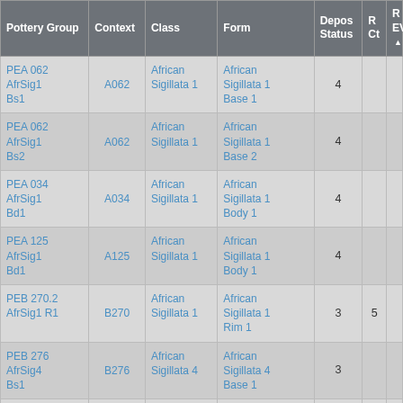| Pottery Group | Context | Class | Form | Depos Status | R Ct | R EV |
| --- | --- | --- | --- | --- | --- | --- |
| PEA 062 AfrSig1 Bs1 | A062 | African Sigillata 1 | African Sigillata 1 Base 1 | 4 |  |  |
| PEA 062 AfrSig1 Bs2 | A062 | African Sigillata 1 | African Sigillata 1 Base 2 | 4 |  |  |
| PEA 034 AfrSig1 Bd1 | A034 | African Sigillata 1 | African Sigillata 1 Body 1 | 4 |  |  |
| PEA 125 AfrSig1 Bd1 | A125 | African Sigillata 1 | African Sigillata 1 Body 1 | 4 |  |  |
| PEB 270.2 AfrSig1 R1 | B270 | African Sigillata 1 | African Sigillata 1 Rim 1 | 3 | 5 |  |
| PEB 276 AfrSig4 Bs1 | B276 | African Sigillata 4 | African Sigillata 4 Base 1 | 3 |  |  |
| PEB 360 |  | African |  |  |  |  |